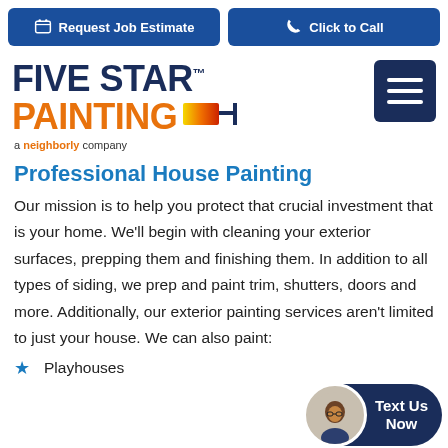Request Job Estimate | Click to Call
[Figure (logo): Five Star Painting logo with orange and red gradient paint roller icon, subtitle 'a neighborly company']
Professional House Painting
Our mission is to help you protect that crucial investment that is your home. We'll begin with cleaning your exterior surfaces, prepping them and finishing them. In addition to all types of siding, we prep and paint trim, shutters, doors and more. Additionally, our exterior painting services aren't limited to just your house. We can also paint:
Playhouses